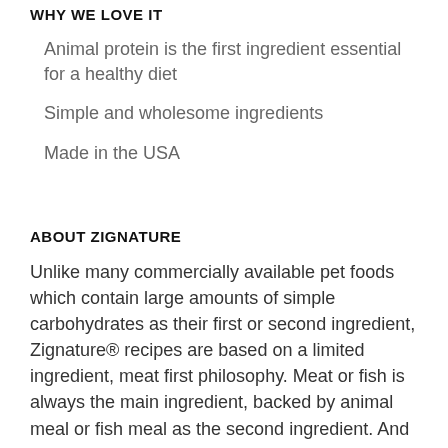WHY WE LOVE IT
Animal protein is the first ingredient essential for a healthy diet
Simple and wholesome ingredients
Made in the USA
ABOUT ZIGNATURE
Unlike many commercially available pet foods which contain large amounts of simple carbohydrates as their first or second ingredient, Zignature® recipes are based on a limited ingredient, meat first philosophy. Meat or fish is always the main ingredient, backed by animal meal or fish meal as the second ingredient. And we only use low glycemic carbohydrates such as Chickpeas and Peas that also provide needed fiber. Our foods are guaranteed to contain only the finest